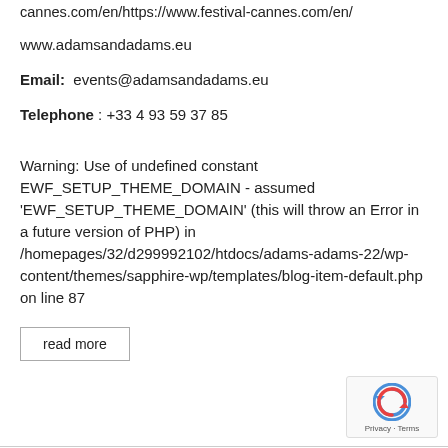cannes.com/en/https://www.festival-cannes.com/en/
www.adamsandadams.eu
Email:  events@adamsandadams.eu
Telephone : +33 4 93 59 37 85
Warning: Use of undefined constant EWF_SETUP_THEME_DOMAIN - assumed 'EWF_SETUP_THEME_DOMAIN' (this will throw an Error in a future version of PHP) in /homepages/32/d299992102/htdocs/adams-adams-22/wp-content/themes/sapphire-wp/templates/blog-item-default.php on line 87
read more